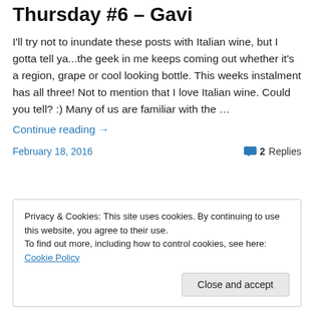Thursday #6 – Gavi
I'll try not to inundate these posts with Italian wine, but I gotta tell ya...the geek in me keeps coming out whether it's a region, grape or cool looking bottle.  This weeks instalment has all three! Not to mention that I love Italian wine. Could you tell? :) Many of us are familiar with the …
Continue reading →
February 18, 2016
2 Replies
Privacy & Cookies: This site uses cookies. By continuing to use this website, you agree to their use.
To find out more, including how to control cookies, see here: Cookie Policy
Close and accept